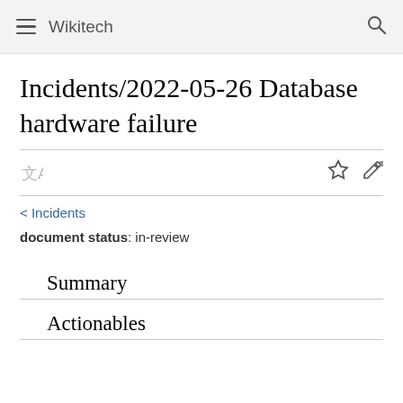Wikitech
Incidents/2022-05-26 Database hardware failure
< Incidents
document status: in-review
Summary
Actionables